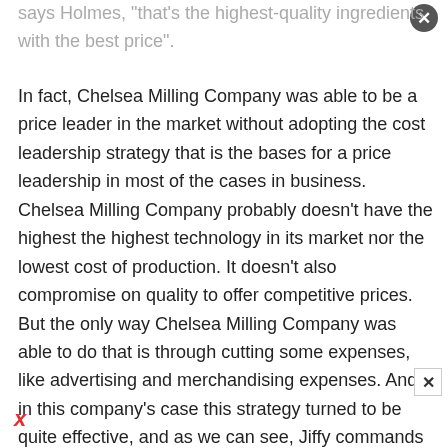says Holmes, "that's the highest-quality ingredients with the best price".
In fact, Chelsea Milling Company was able to be a price leader in the market without adopting the cost leadership strategy that is the bases for a price leadership in most of the cases in business. Chelsea Milling Company probably doesn't have the highest the highest technology in its market nor the lowest cost of production. It doesn't also compromise on quality to offer competitive prices.
But the only way Chelsea Milling Company was able to do that is through cutting some expenses, like advertising and merchandising expenses. And in this company's case this strategy turned to be quite effective, and as we can see, Jiffy commands about 55% of the market in the muffin mix category, and based on the statement of Kroger, the USA's